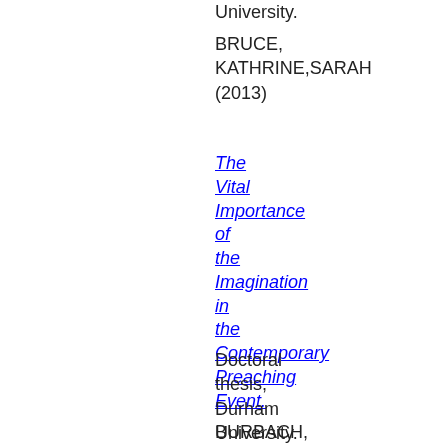University.
BRUCE, KATHRINE,SARAH (2013)
The Vital Importance of the Imagination in the Contemporary Preaching Event.
Doctoral thesis, Durham University.
BURBACH, NICOLETE,MARGARET,NATALYA